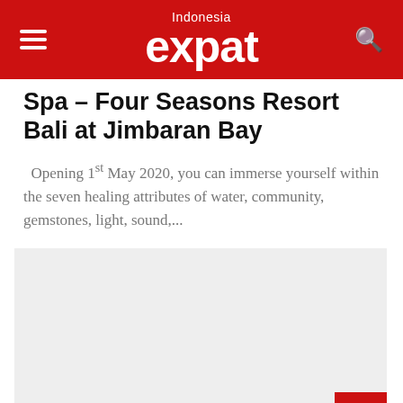Indonesia expat
Spa – Four Seasons Resort Bali at Jimbaran Bay
Opening 1st May 2020, you can immerse yourself within the seven healing attributes of water, community, gemstones, light, sound,...
[Figure (other): Advertisement placeholder area (light grey rectangle)]